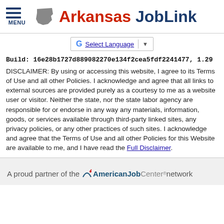[Figure (logo): Arkansas JobLink website header with menu icon (three horizontal lines), Arkansas state silhouette logo, and 'Arkansas JobLink' text in red and dark blue]
[Figure (screenshot): Google Translate 'Select Language' widget with dropdown arrow]
Build: 16e28b1727d889082270e134f2cea5fdf2241477, 1.29
DISCLAIMER: By using or accessing this website, I agree to its Terms of Use and all other Policies. I acknowledge and agree that all links to external sources are provided purely as a courtesy to me as a website user or visitor. Neither the state, nor the state labor agency are responsible for or endorse in any way any materials, information, goods, or services available through third-party linked sites, any privacy policies, or any other practices of such sites. I acknowledge and agree that the Terms of Use and all other Policies for this Website are available to me, and I have read the Full Disclaimer.
[Figure (logo): American Job Center network logo with arc design and red star, followed by 'network' text]